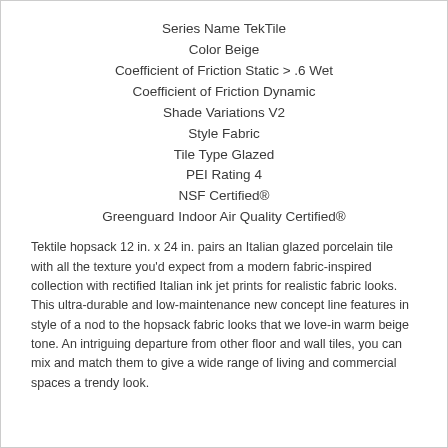Series Name TekTile
Color Beige
Coefficient of Friction Static > .6 Wet
Coefficient of Friction Dynamic
Shade Variations V2
Style Fabric
Tile Type Glazed
PEI Rating 4
NSF Certified®
Greenguard Indoor Air Quality Certified®
Tektile hopsack 12 in. x 24 in. pairs an Italian glazed porcelain tile with all the texture you'd expect from a modern fabric-inspired collection with rectified Italian ink jet prints for realistic fabric looks. This ultra-durable and low-maintenance new concept line features in style of a nod to the hopsack fabric looks that we love-in warm beige tone. An intriguing departure from other floor and wall tiles, you can mix and match them to give a wide range of living and commercial spaces a trendy look.